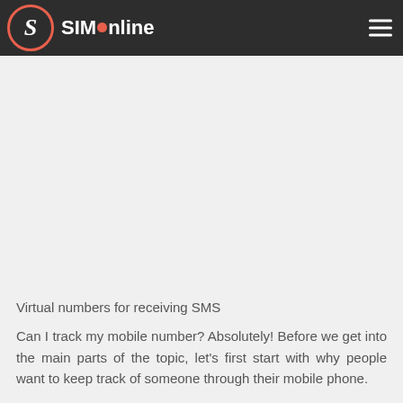SIMOnline
Virtual numbers for receiving SMS
Can I track my mobile number? Absolutely! Before we get into the main parts of the topic, let's first start with why people want to keep track of someone through their mobile phone.